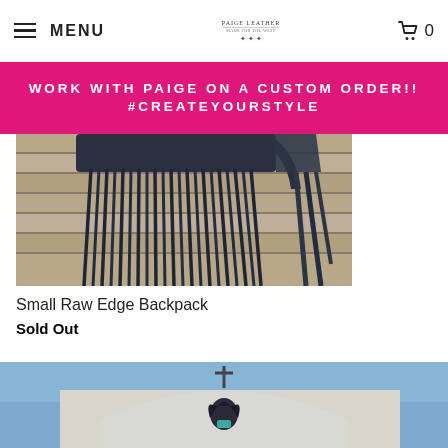MENU | PAIGE LEATHER logo | cart 0
WORK WITH PAIGE ON A CUSTOM ORDER!! #CREATEYOURSTYLE
[Figure (photo): Close-up photo of a dark navy/black leather fringe backpack hanging on a wooden wall. The fringe straps hang down prominently. The bag body is visible at the top.]
Small Raw Edge Backpack
Sold Out
[Figure (photo): Photo of a woman with dark hair standing in front of a white adobe-style building with a cross on top. Blue sky in background. Woman is wearing a blue/teal outfit.]